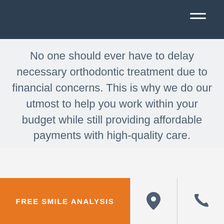No one should ever have to delay necessary orthodontic treatment due to financial concerns. This is why we do our utmost to help you work within your budget while still providing affordable payments with high-quality care.
FREE SMILE ANALYSIS